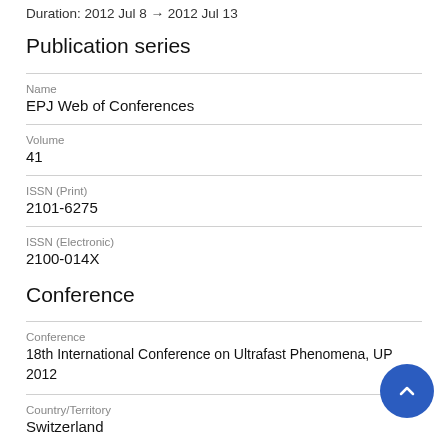Duration: 2012 Jul 8 → 2012 Jul 13
Publication series
Name
EPJ Web of Conferences
Volume
41
ISSN (Print)
2101-6275
ISSN (Electronic)
2100-014X
Conference
Conference
18th International Conference on Ultrafast Phenomena, UP 2012
Country/Territory
Switzerland